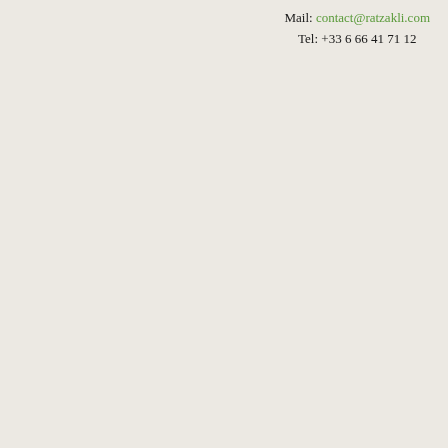Mail: contact@ratzakli.com
Tel: +33 6 66 41 71 12